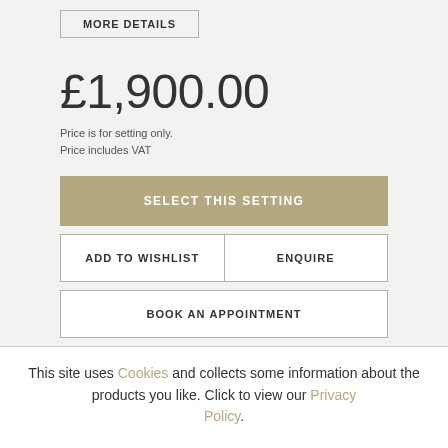MORE DETAILS
£1,900.00
Price is for setting only.
Price includes VAT
SELECT THIS SETTING
ADD TO WISHLIST
ENQUIRE
BOOK AN APPOINTMENT
This site uses Cookies and collects some information about the products you like. Click to view our Privacy Policy.
Setting Details
Type
ACCEPT